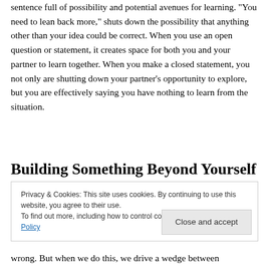sentence full of possibility and potential avenues for learning. “You need to lean back more,” shuts down the possibility that anything other than your idea could be correct. When you use an open question or statement, it creates space for both you and your partner to learn together. When you make a closed statement, you not only are shutting down your partner’s opportunity to explore, but you are effectively saying you have nothing to learn from the situation.
Building Something Beyond Yourself
Privacy & Cookies: This site uses cookies. By continuing to use this website, you agree to their use.
To find out more, including how to control cookies, see here: Cookie Policy
wrong. But when we do this, we drive a wedge between